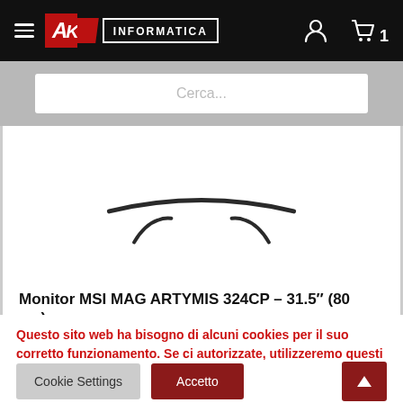AK Informatica — hamburger menu, user icon, cart (1)
Cerca...
[Figure (photo): Partial view of an MSI MAG ARTYMIS 324CP monitor showing the curved top edge and stand feet against a white background]
Monitor MSI MAG ARTYMIS 324CP – 31.5" (80 cm),
Questo sito web ha bisogno di alcuni cookies per il suo corretto funzionamento. Se ci autorizzate, utilizzeremo questi strumenti per raccogliere dati statistici relativi alle visite al sito per migliorare i servizi offerti. Leggi la policy
Cookie Settings
Accetto